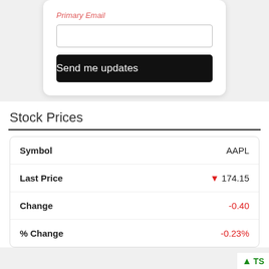Primary Email
Send me updates
Stock Prices
|  | AAPL |
| --- | --- |
| Symbol | AAPL |
| Last Price | ▼ 174.15 |
| Change | -0.40 |
| % Change | -0.23% |